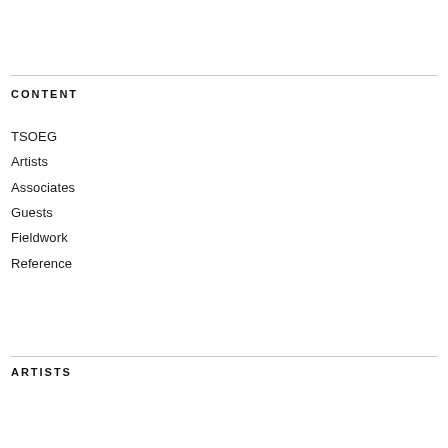CONTENT
TSOEG
Artists
Associates
Guests
Fieldwork
Reference
ARTISTS